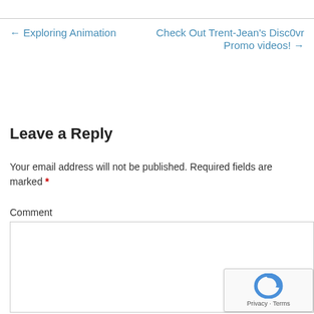← Exploring Animation
Check Out Trent-Jean's Disc0vr Promo videos! →
Leave a Reply
Your email address will not be published. Required fields are marked *
Comment